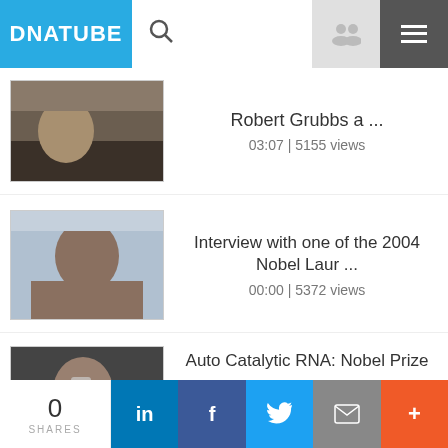DNATUBE
Robert Grubbs a ... 03:07 | 5155 views
Interview with one of the 2004 Nobel Laur ... 00:00 | 5372 views
Auto Catalytic RNA: Nobel Prize 09:16 | 10583 views
0 SHARES